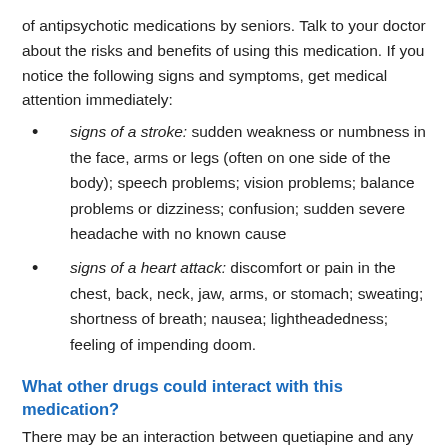of antipsychotic medications by seniors. Talk to your doctor about the risks and benefits of using this medication. If you notice the following signs and symptoms, get medical attention immediately:
signs of a stroke: sudden weakness or numbness in the face, arms or legs (often on one side of the body); speech problems; vision problems; balance problems or dizziness; confusion; sudden severe headache with no known cause
signs of a heart attack: discomfort or pain in the chest, back, neck, jaw, arms, or stomach; sweating; shortness of breath; nausea; lightheadedness; feeling of impending doom.
What other drugs could interact with this medication?
There may be an interaction between quetiapine and any of the